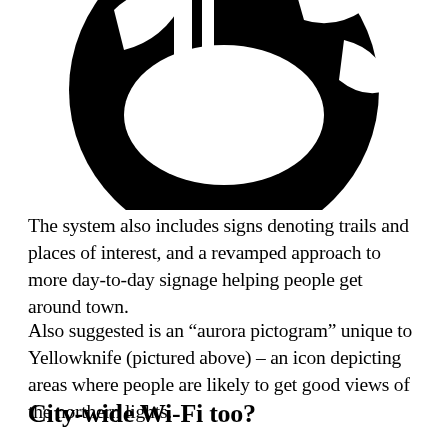[Figure (illustration): Partial black circular aurora pictogram icon, cropped at top of page, showing a stylized circular shape with cut-outs suggesting a wavy aurora or landscape scene.]
The system also includes signs denoting trails and places of interest, and a revamped approach to more day-to-day signage helping people get around town.
Also suggested is an “aurora pictogram” unique to Yellowknife (pictured above) – an icon depicting areas where people are likely to get good views of the northern lights.
City-wide Wi-Fi too?